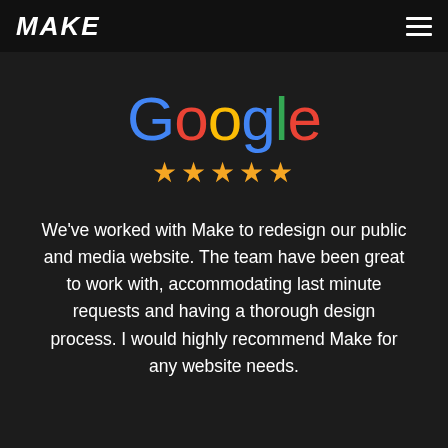MAKE
[Figure (logo): Google logo rendered in Google brand colors (blue G, red o, yellow o, blue g, green l, red e)]
★★★★★
We've worked with Make to redesign our public and media website. The team have been great to work with, accommodating last minute requests and having a thorough design process. I would highly recommend Make for any website needs.